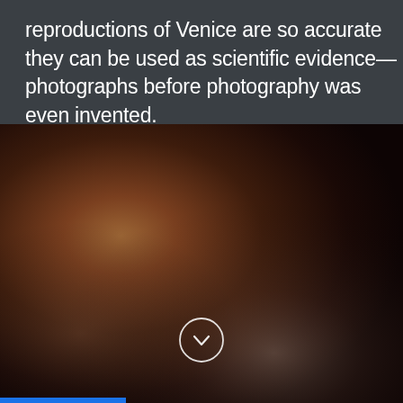reproductions of Venice are so accurate they can be used as scientific evidence—photographs before photography was even invented.
[Figure (photo): Blurred, dark atmospheric photograph with warm brown and reddish tones, suggesting a Venetian scene or painting detail, heavily diffused with dark vignette.]